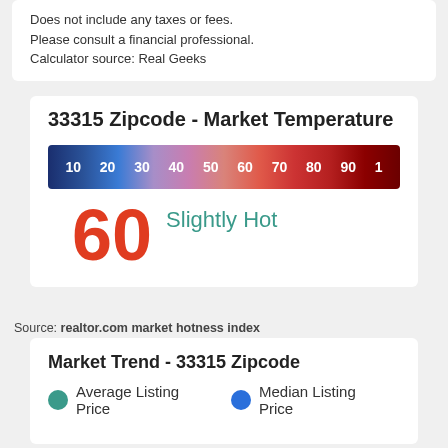Does not include any taxes or fees. Please consult a financial professional. Calculator source: Real Geeks
[Figure (infographic): Market temperature gauge for 33315 Zipcode showing a color gradient bar from blue (10) to dark red (100) with a score of 60 labeled Slightly Hot]
Source: realtor.com market hotness index
Market Trend - 33315 Zipcode
Average Listing Price   Median Listing Price